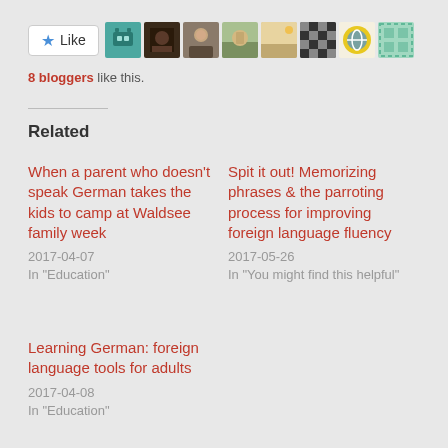[Figure (other): Like button with star icon followed by 8 blogger avatar thumbnails]
8 bloggers like this.
Related
When a parent who doesn't speak German takes the kids to camp at Waldsee family week
2017-04-07
In "Education"
Spit it out! Memorizing phrases & the parroting process for improving foreign language fluency
2017-05-26
In "You might find this helpful"
Learning German: foreign language tools for adults
2017-04-08
In "Education"